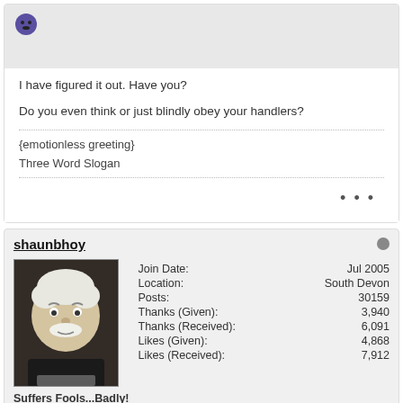[Figure (illustration): Small pixel art avatar icon (dark circular emoji-like face)]
I have figured it out. Have you?
Do you even think or just blindly obey your handlers?
{emotionless greeting}
Three Word Slogan
shaunbhoy
[Figure (photo): Profile photo of a puppet/muppet character with white hair and mustache seated at a keyboard]
| Field | Value |
| --- | --- |
| Join Date: | Jul 2005 |
| Location: | South Devon |
| Posts: | 30159 |
| Thanks (Given): | 3,940 |
| Thanks (Received): | 6,091 |
| Likes (Given): | 4,868 |
| Likes (Received): | 7,912 |
Suffers Fools...Badly!
shaunbhoy is always on top